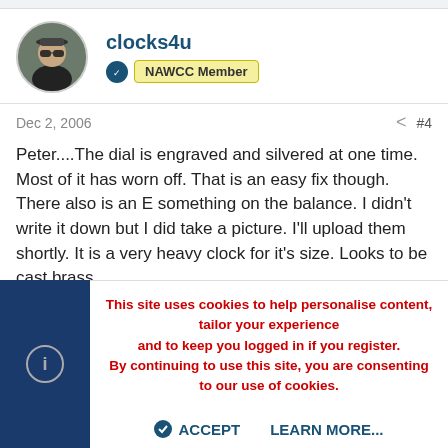[Figure (photo): User avatar photo of clocks4u - man wearing sunglasses]
clocks4u
NAWCC Member
Dec 2, 2006
#4
Peter....The dial is engraved and silvered at one time. Most of it has worn off. That is an easy fix though. There also is an E something on the balance. I didn't write it down but I did take a picture. I'll upload them shortly. It is a very heavy clock for it's size. Looks to be cast brass.
http://mywebpages.comcast.net/clocks4u/mercer1d.jpg
This site uses cookies to help personalise content, tailor your experience and to keep you logged in if you register.
By continuing to use this site, you are consenting to our use of cookies.
ACCEPT
LEARN MORE...